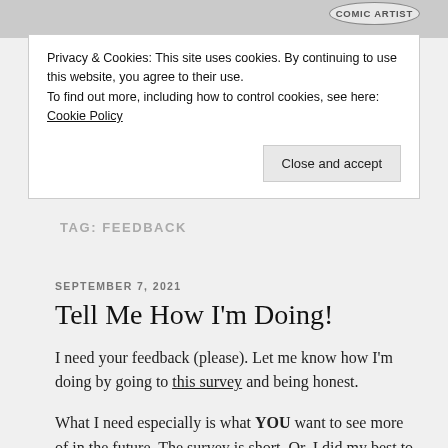COMIC ARTIST
Privacy & Cookies: This site uses cookies. By continuing to use this website, you agree to their use.
To find out more, including how to control cookies, see here: Cookie Policy
Close and accept
TAG: FEEDBACK
SEPTEMBER 7, 2021
Tell Me How I'm Doing!
I need your feedback (please). Let me know how I'm doing by going to this survey and being honest.
What I need especially is what YOU want to see more of in the future. The survey is short. Or, I did my best to make it so.
That's all. Thank you!